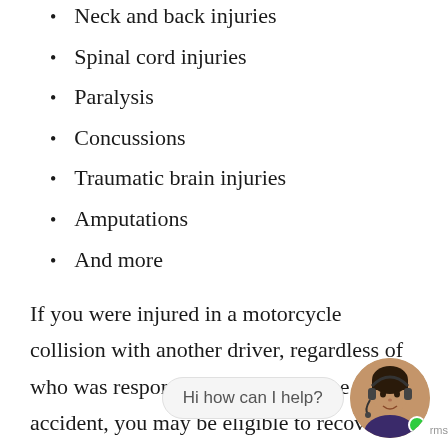Neck and back injuries
Spinal cord injuries
Paralysis
Concussions
Traumatic brain injuries
Amputations
And more
If you were injured in a motorcycle collision with another driver, regardless of who was responsible for causing the accident, you may be eligible to recover accident benefits from your insura[nce company] regardless of whether your accident was caused by another driver's [negligence].
[Figure (other): Live chat widget showing a customer service representative with headset and a speech bubble saying 'Hi how can I help?' with a green online indicator dot. Partially obscures the text.]